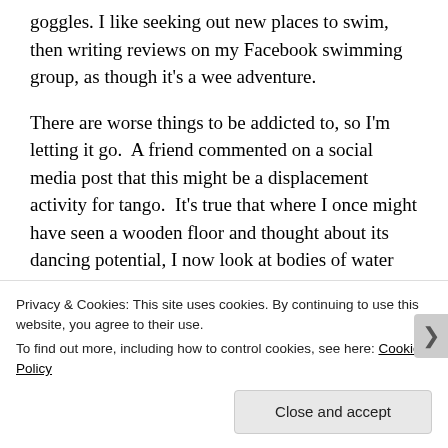just made an appointment to get prescription goggles. I like seeking out new places to swim, then writing reviews on my Facebook swimming group, as though it's a wee adventure.
There are worse things to be addicted to, so I'm letting it go.  A friend commented on a social media post that this might be a displacement activity for tango.  It's true that where I once might have seen a wooden floor and thought about its dancing potential, I now look at bodies of water and wonder what they'd be like to swim in. What the...
Privacy & Cookies: This site uses cookies. By continuing to use this website, you agree to their use.
To find out more, including how to control cookies, see here: Cookie Policy
Close and accept